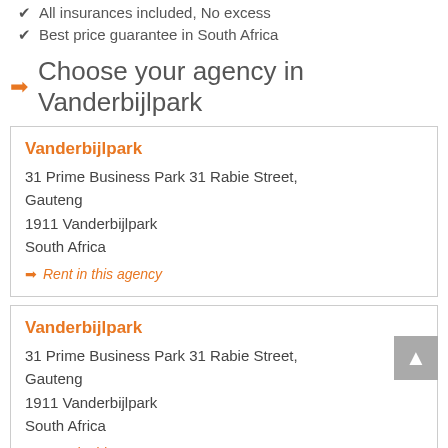✔ All insurances included, No excess
✔ Best price guarantee in South Africa
➡ Choose your agency in Vanderbijlpark
Vanderbijlpark
31 Prime Business Park 31 Rabie Street, Gauteng
1911 Vanderbijlpark
South Africa
➡ Rent in this agency
Vanderbijlpark
31 Prime Business Park 31 Rabie Street, Gauteng
1911 Vanderbijlpark
South Africa
➡ Rent in this agency
Sasolburg
Building 1a, Venco Park, Erick Louw Street,